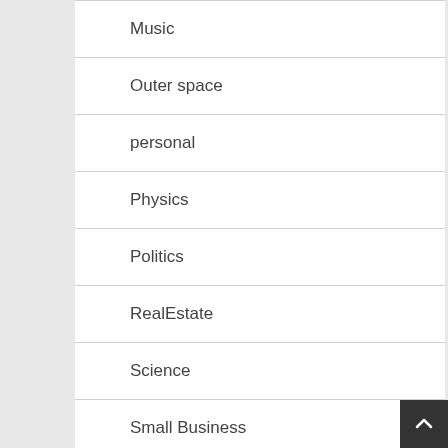Music
Outer space
personal
Physics
Politics
RealEstate
Science
Small Business
Space cosmos